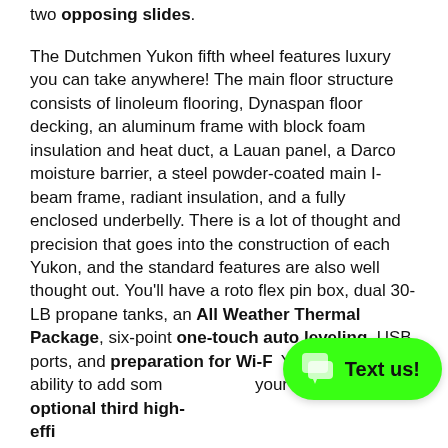two opposing slides.
The Dutchmen Yukon fifth wheel features luxury you can take anywhere! The main floor structure consists of linoleum flooring, Dynaspan floor decking, an aluminum frame with block foam insulation and heat duct, a Lauan panel, a Darco moisture barrier, a steel powder-coated main I-beam frame, radiant insulation, and a fully enclosed underbelly. There is a lot of thought and precision that goes into the construction of each Yukon, and the standard features are also well thought out. You'll have a roto flex pin box, dual 30-LB propane tanks, an All Weather Thermal Package, six-point one-touch auto leveling, USB ports, and preparation for Wi-Fi. You also have the ability to add some options to your Yukon, like the optional third high-efficiency A/C unit...